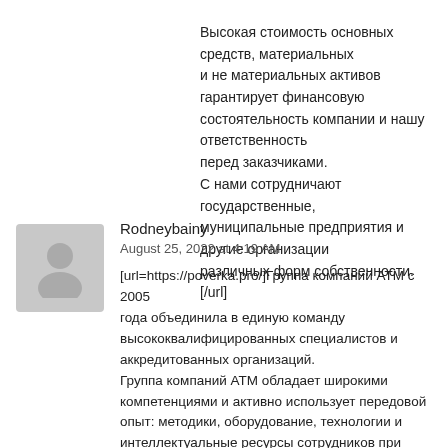Высокая стоимость основных средств, материальных и не материальных активов гарантирует финансовую состоятельность компании и нашу ответственность перед заказчиками.
С нами сотрудничают государственные, муниципальные предприятия и другие организации различных форм собственности.[/url]
Rodneybainy
August 25, 2022 at 4:19 AM
[url=https://poverka.pro/]Группа компаний АТМ с 2005 года объединила в единую команду высококвалифицированных специалистов и аккредитованных организаций.
Группа компаний АТМ обладает широкими компетенциями и активно использует передовой опыт: методики, оборудование, технологии и интеллектуальные ресурсы сотрудников при реализации своих проектов в России.
Высокая стоимость основных средств, материальных и не материальных активов гарантирует финансовую состоятельность компании и нашу ответственность